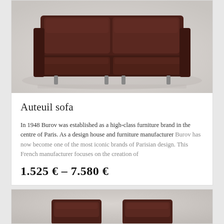[Figure (photo): Dark brown leather sofa (Auteuil sofa) photographed against a light grey/white background, front view showing two seat cushions and metal legs]
Auteuil sofa
In 1948 Burov was established as a high-class furniture brand in the centre of Paris. As a design house and furniture manufacturer Burov has now become one of the most iconic brands of Parisian design. This French manufacturer focuses on the creation of
1.525 € – 7.580 €
[Figure (photo): Partial view of another leather furniture product (chairs or smaller sofas) in dark brown, photographed against grey background]